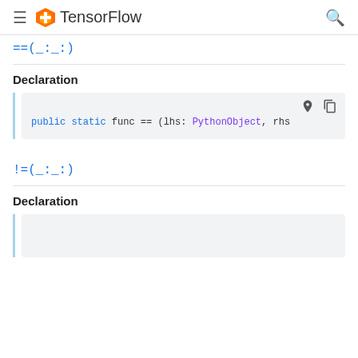TensorFlow
==(_:_:)
Declaration
public static func == (lhs: PythonObject, rhs
!=(_:_:)
Declaration